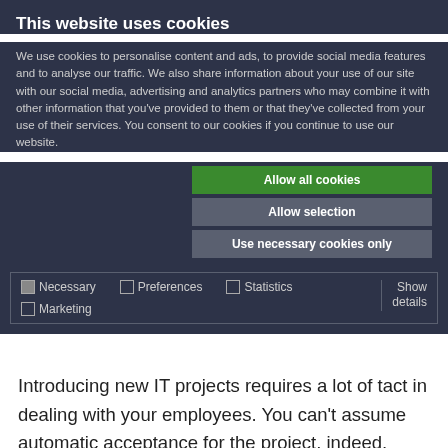This website uses cookies
We use cookies to personalise content and ads, to provide social media features and to analyse our traffic. We also share information about your use of our site with our social media, advertising and analytics partners who may combine it with other information that you've provided to them or that they've collected from your use of their services. You consent to our cookies if you continue to use our website.
Allow all cookies
Allow selection
Use necessary cookies only
Necessary  Preferences  Statistics  Marketing  Show details
Introducing new IT projects requires a lot of tact in dealing with your employees. You can't assume automatic acceptance for the project, indeed, there will probably be a lot of anxiety and insecurity, with some staff rejecting the changes outright. A well-planned, targeted communication